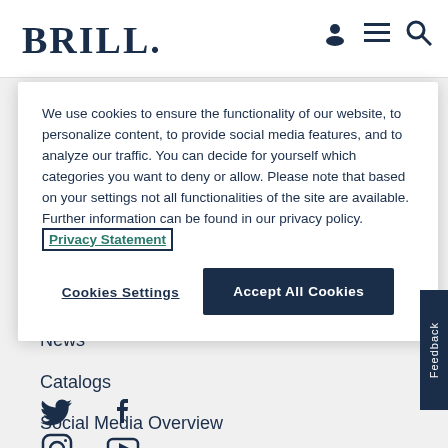BRILL
We use cookies to ensure the functionality of our website, to personalize content, to provide social media features, and to analyze our traffic. You can decide for yourself which categories you want to deny or allow. Please note that based on your settings not all functionalities of the site are available. Further information can be found in our privacy policy. Privacy Statement
Cookies Settings
Accept All Cookies
News
Catalogs
Social Media Overview
[Figure (illustration): Social media icons: Twitter bird, Facebook f, Instagram camera, YouTube play button]
Feedback